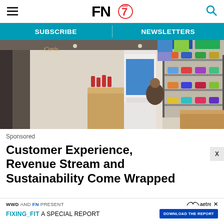FN7 — Footwear News header with hamburger menu, logo, and search icon
SUBSCRIBE   NEWSLETTERS
[Figure (photo): Interior of a sneaker/shoe retail store showing shelves with colorful sneakers, a wooden counter/display unit, a white digital kiosk with a blue screen, and product displays in a modern minimalist space.]
Sponsored
Customer Experience, Revenue Stream and Sustainability Come Wrapped
WWD AND FN PRESENT FIXING_FIT A SPECIAL REPORT — DOWNLOAD THE REPORT (aetrex ad)